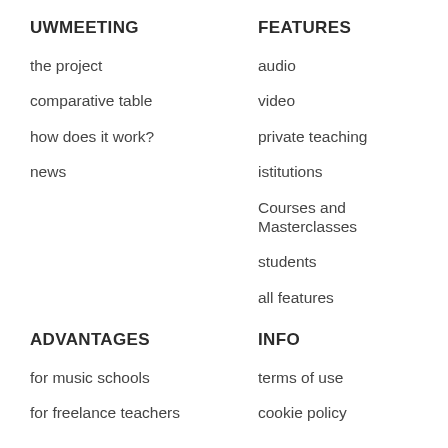UWMEETING
the project
comparative table
how does it work?
news
FEATURES
audio
video
private teaching
istitutions
Courses and Masterclasses
students
all features
ADVANTAGES
for music schools
for freelance teachers
INFO
terms of use
cookie policy